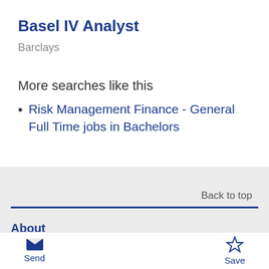Basel IV Analyst
Barclays
More searches like this
Risk Management Finance - General Full Time jobs in Bachelors
Back to top
About
Send   Save